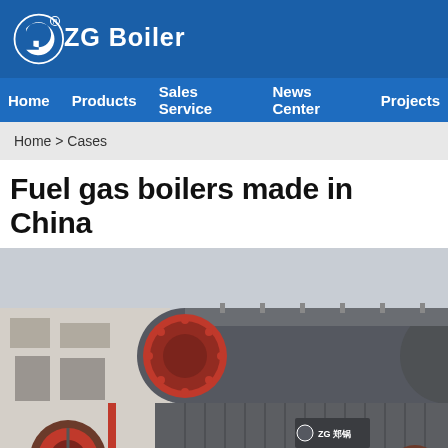ZG Boiler
Home   Products   Sales Service   News Center   Projects
Home > Cases
Fuel gas boilers made in China
[Figure (photo): Large industrial fuel gas boiler unit photographed outdoors in front of a factory building. The boiler is dark grey/charcoal colored with a large cylindrical body. Red circular burner/door visible on the front end. The ZG Boiler logo is visible on the side of the unit. Multiple small fittings and pipes visible on top. Background shows a light grey sky and industrial building facade.]